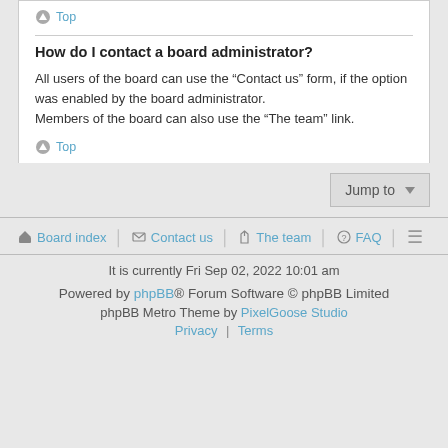Top
How do I contact a board administrator?
All users of the board can use the “Contact us” form, if the option was enabled by the board administrator.
Members of the board can also use the “The team” link.
Top
Jump to
Board index   Contact us   The team   FAQ
It is currently Fri Sep 02, 2022 10:01 am
Powered by phpBB® Forum Software © phpBB Limited
phpBB Metro Theme by PixelGoose Studio
Privacy | Terms